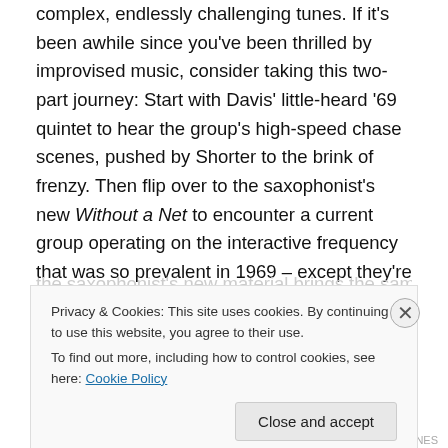complex, endlessly challenging tunes. If it's been awhile since you've been thrilled by improvised music, consider taking this two-part journey: Start with Davis' little-heard '69 quintet to hear the group's high-speed chase scenes, pushed by Shorter to the brink of frenzy. Then flip over to the saxophonist's new Without a Net to encounter a current group operating on the interactive frequency that was so prevalent in 1969 – except they're using current vocabulary, and current notions about consonance and dissonance. Though recorded more than 40 years apart,
Privacy & Cookies: This site uses cookies. By continuing to use this website, you agree to their use.
To find out more, including how to control cookies, see here: Cookie Policy
Close and accept